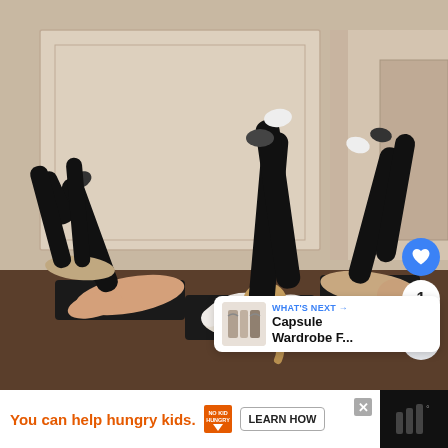[Figure (photo): Group of women in a Pilates or barre class lying on low black benches/chairs with their legs raised straight up. The foreground shows a blonde woman in a white long-sleeve top with her hands behind her head and legs extended upward. Background shows two more women in black athletic wear in similar poses. The room has white wainscoting walls and hardwood floors.]
WHAT'S NEXT →
Capsule Wardrobe F...
You can help hungry kids.
NO KID HUNGRY
LEARN HOW